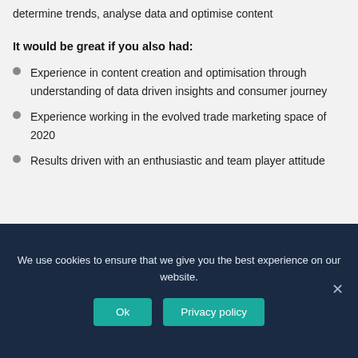determine trends, analyse data and optimise content
It would be great if you also had:
Experience in content creation and optimisation through understanding of data driven insights and consumer journey
Experience working in the evolved trade marketing space of 2020
Results driven with an enthusiastic and team player attitude
We use cookies to ensure that we give you the best experience on our website.